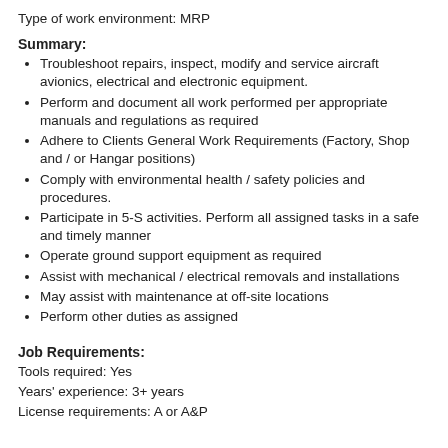Type of work environment: MRP
Summary:
Troubleshoot repairs, inspect, modify and service aircraft avionics, electrical and electronic equipment.
Perform and document all work performed per appropriate manuals and regulations as required
Adhere to Clients General Work Requirements (Factory, Shop and / or Hangar positions)
Comply with environmental health / safety policies and procedures.
Participate in 5-S activities. Perform all assigned tasks in a safe and timely manner
Operate ground support equipment as required
Assist with mechanical / electrical removals and installations
May assist with maintenance at off-site locations
Perform other duties as assigned
Job Requirements:
Tools required: Yes
Years' experience: 3+ years
License requirements: A or A&P